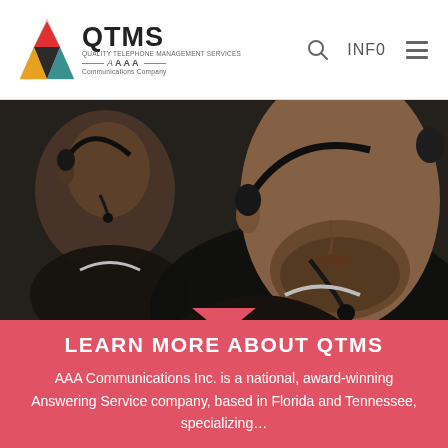QTMS - AAA Communications Company
[Figure (photo): Two customer service representatives wearing headset microphones, photographed in close-up, dark toned professional setting]
LEARN MORE ABOUT QTMS
AAA Communications Inc. is a national, award-winning Answering Service company, based in Florida and Tennessee, specializing…